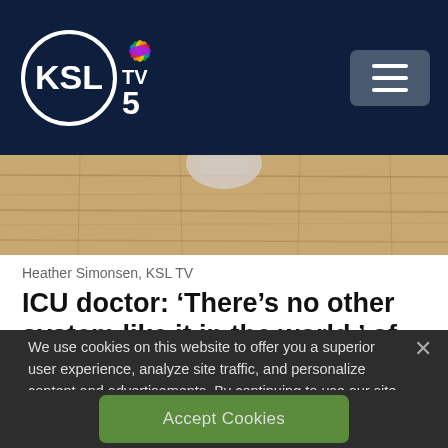KSL TV 5
[Figure (photo): Partial view of wooden floor with a foot/leg visible, cropped article header image]
Heather Simonsen, KSL TV
ICU doctor: ‘There’s no other system like it in the world,’ of pneumonia electronic support tool
We use cookies on this website to offer you a superior user experience, analyze site traffic, and personalize content and advertisements. By continuing to use our site, you consent to our use of cookies. Please visit our Privacy Policy for more information.
Accept Cookies